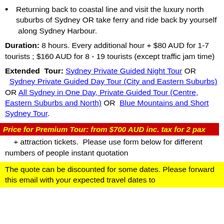Returning back to coastal line and visit the luxury north suburbs of Sydney OR take ferry and ride back by yourself along Sydney Harbour.
Duration: 8 hours. Every additional hour + $80 AUD for 1-7 tourists ; $160 AUD for 8 - 19 tourists (except traffic jam time)
Extended Tour: Sydney Private Guided Night Tour OR Sydney Private Guided Day Tour (City and Eastern Suburbs) OR All Sydney in One Day, Private Guided Tour (Centre, Eastern Suburbs and North) OR Blue Mountains and Short Sydney Tour.
Price for Premium Tour: from $700 AUD inc. tax for 2 pax + attraction tickets. Please use form below for different numbers of people instant quotation
The quote can be discounted for some dates. Please forward this email with your expected travel dates to